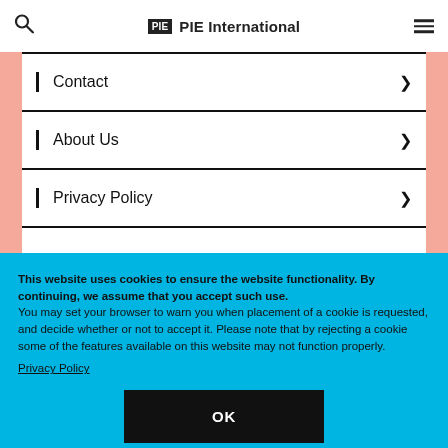PIE International
Contact
About Us
Privacy Policy
This website uses cookies to ensure the website functionality. By continuing, we assume that you accept such use.
You may set your browser to warn you when placement of a cookie is requested, and decide whether or not to accept it. Please note that by rejecting a cookie some of the features available on this website may not function properly.
Privacy Policy
OK